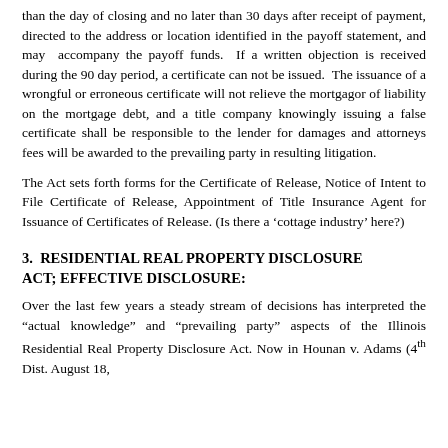than the day of closing and no later than 30 days after receipt of payment, directed to the address or location identified in the payoff statement, and may accompany the payoff funds. If a written objection is received during the 90 day period, a certificate can not be issued. The issuance of a wrongful or erroneous certificate will not relieve the mortgagor of liability on the mortgage debt, and a title company knowingly issuing a false certificate shall be responsible to the lender for damages and attorneys fees will be awarded to the prevailing party in resulting litigation.
The Act sets forth forms for the Certificate of Release, Notice of Intent to File Certificate of Release, Appointment of Title Insurance Agent for Issuance of Certificates of Release. (Is there a ‘cottage industry’ here?)
3. RESIDENTIAL REAL PROPERTY DISCLOSURE ACT; EFFECTIVE DISCLOSURE:
Over the last few years a steady stream of decisions has interpreted the “actual knowledge” and “prevailing party” aspects of the Illinois Residential Real Property Disclosure Act. Now in Hounan v. Adams (4th Dist. August 18,